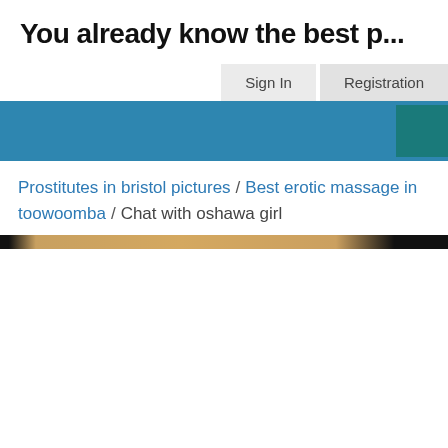You already know the best p...
Sign In  Registration
[Figure (screenshot): Blue navigation bar with a teal/dark green square button on the right]
Prostitutes in bristol pictures / Best erotic massage in toowoomba / Chat with oshawa girl
[Figure (photo): Partial image strip showing skin tones, cropped at top]